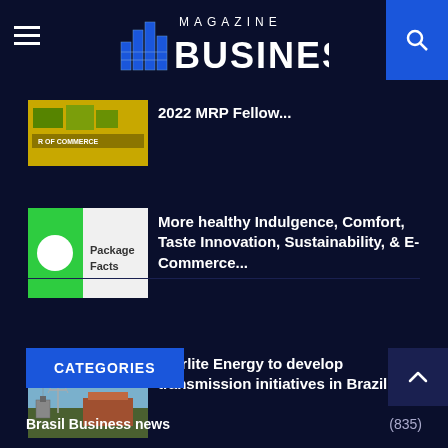MAGAZINE BUSINESS
[Figure (screenshot): Partially visible article thumbnail - chamber of commerce yellow logo]
2022 MRP Fellow...
[Figure (screenshot): Package Facts logo - green and white]
More healthy Indulgence, Comfort, Taste Innovation, Sustainability, & E-Commerce...
[Figure (photo): Electrical transmission substation photo]
Sterlite Energy to develop transmission initiatives in Brazil for...
CATEGORIES
Brasil Business news (835)